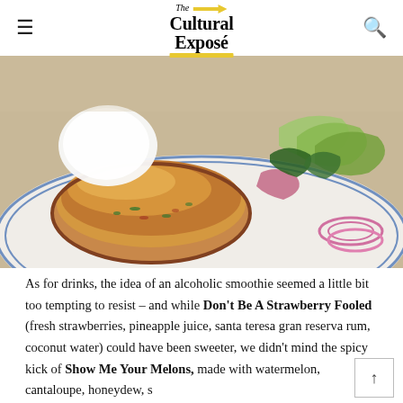The Cultural Exposé
[Figure (photo): Food photo: a golden-brown crab cake or fish cake on a white plate with blue rim, accompanied by a green salad with red onion slices and white cream/sauce, shot close-up.]
As for drinks, the idea of an alcoholic smoothie seemed a little bit too tempting to resist – and while Don't Be A Strawberry Fooled (fresh strawberries, pineapple juice, santa teresa gran reserva rum, coconut water) could have been sweeter, we didn't mind the spicy kick of Show Me Your Melons, made with watermelon, cantaloupe, honeydew, santa teresa gran reserva rum, mint and chilli.